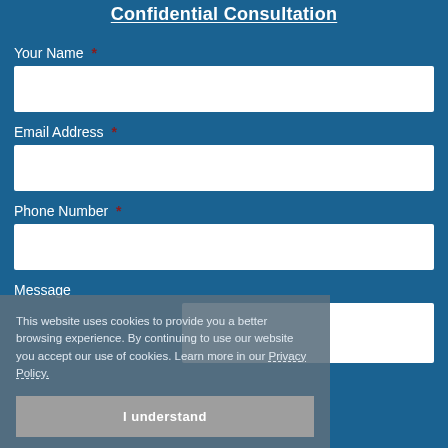Confidential Consultation
Your Name *
Email Address *
Phone Number *
Message
This website uses cookies to provide you a better browsing experience. By continuing to use our website you accept our use of cookies. Learn more in our Privacy Policy.
I understand